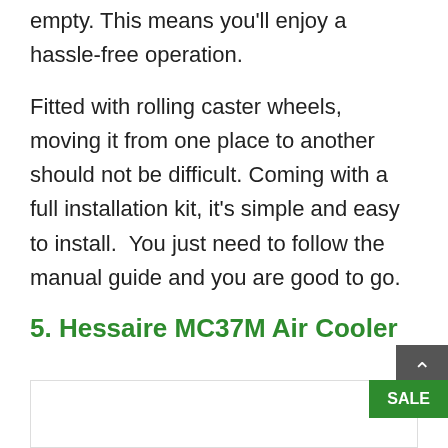empty. This means you'll enjoy a hassle-free operation.
Fitted with rolling caster wheels, moving it from one place to another should not be difficult. Coming with a full installation kit, it's simple and easy to install.  You just need to follow the manual guide and you are good to go.
5. Hessaire MC37M Air Cooler
[Figure (photo): Product image area for Hessaire MC37M Air Cooler with SALE badge]